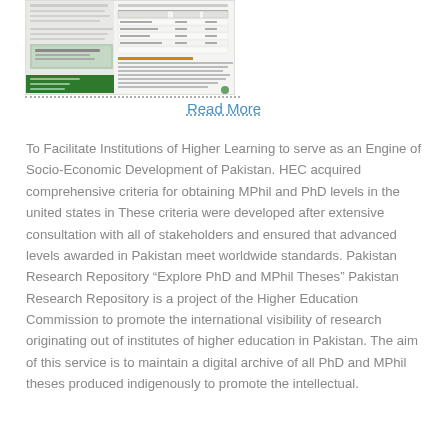[Figure (screenshot): Thumbnail image of a document page showing a table and text related to HEC higher education aptitude test information, with a green footer bar.]
Read More
To Facilitate Institutions of Higher Learning to serve as an Engine of Socio-Economic Development of Pakistan. HEC acquired comprehensive criteria for obtaining MPhil and PhD levels in the united states in These criteria were developed after extensive consultation with all of stakeholders and ensured that advanced levels awarded in Pakistan meet worldwide standards. Pakistan Research Repository “Explore PhD and MPhil Theses” Pakistan Research Repository is a project of the Higher Education Commission to promote the international visibility of research originating out of institutes of higher education in Pakistan. The aim of this service is to maintain a digital archive of all PhD and MPhil theses produced indigenously to promote the intellectual.